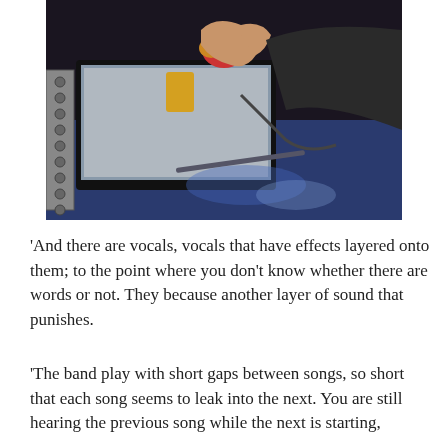[Figure (photo): A photograph of a person's hands holding colorful electronic components or guitar pedal parts above a laptop or tablet screen on a blue surface, in a dark venue setting.]
'And there are vocals, vocals that have effects layered onto them; to the point where you don't know whether there are words or not. They because another layer of sound that punishes.
'The band play with short gaps between songs, so short that each song seems to leak into the next. You are still hearing the previous song while the next is starting,